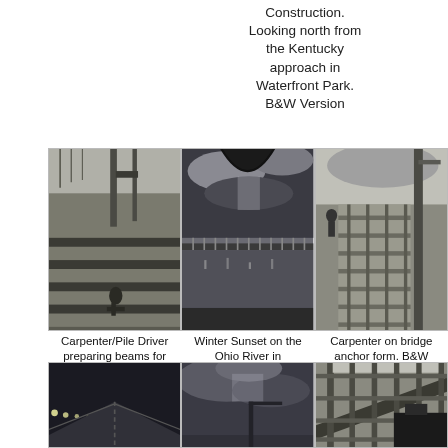Construction. Looking north from the Kentucky approach in Waterfront Park. B&W Version
[Figure (photo): Black and white photo of a carpenter/pile driver preparing beams for lifting into place on the pile driving engine at a bridge construction site.]
[Figure (photo): Black and white photo of a winter sunset on the Ohio River in Louisville, KY, looking through bridge structural elements.]
[Figure (photo): Black and white photo of a carpenter on a bridge anchor form at a construction site.]
Carpenter/Pile Driver preparing beams for lifting into place on the pile driving engine. B&W Version
Winter Sunset on the Ohio River in Louisville, KY. B&W Version
Carpenter on bridge anchor form. B&W Version
[Figure (photo): Black and white photo of a bridge deck walkway looking down the span at night.]
[Figure (photo): Black and white photo of dramatic cloudy sky near bridge construction.]
[Figure (photo): Black and white photo looking up at bridge steel structural elements from below.]